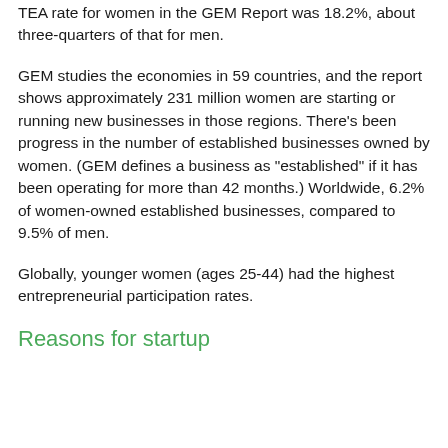TEA rate for women in the GEM Report was 18.2%, about three-quarters of that for men.
GEM studies the economies in 59 countries, and the report shows approximately 231 million women are starting or running new businesses in those regions. There’s been progress in the number of established businesses owned by women. (GEM defines a business as “established” if it has been operating for more than 42 months.)  Worldwide, 6.2% of women-owned established businesses, compared to 9.5% of men.
Globally, younger women (ages 25-44) had the highest entrepreneurial participation rates.
Reasons for startup